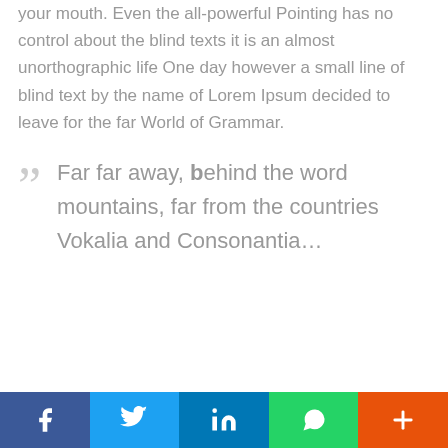your mouth. Even the all-powerful Pointing has no control about the blind texts it is an almost unorthographic life One day however a small line of blind text by the name of Lorem Ipsum decided to leave for the far World of Grammar.
Far far away, behind the word mountains, far from the countries Vokalia and Consonantia the…